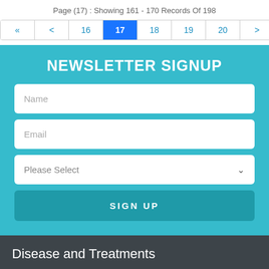Page (17) : Showing 161 - 170 Records Of 198
« < 16 17 18 19 20 > »
NEWSLETTER SIGNUP
Name
Email
Please Select
SIGN UP
Disease and Treatments